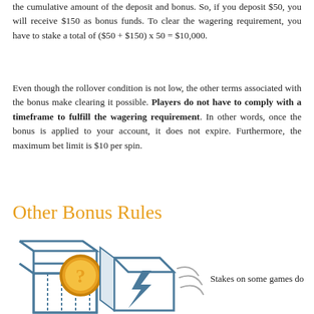the cumulative amount of the deposit and bonus. So, if you deposit $50, you will receive $150 as bonus funds. To clear the wagering requirement, you have to stake a total of ($50 + $150) x 50 = $10,000.
Even though the rollover condition is not low, the other terms associated with the bonus make clearing it possible. Players do not have to comply with a timeframe to fulfill the wagering requirement. In other words, once the bonus is applied to your account, it does not expire. Furthermore, the maximum bet limit is $10 per spin.
Other Bonus Rules
[Figure (illustration): Illustration of two open boxes with a question mark coin and a lightning bolt symbol, representing bonus rules or mystery prizes.]
Stakes on some games do